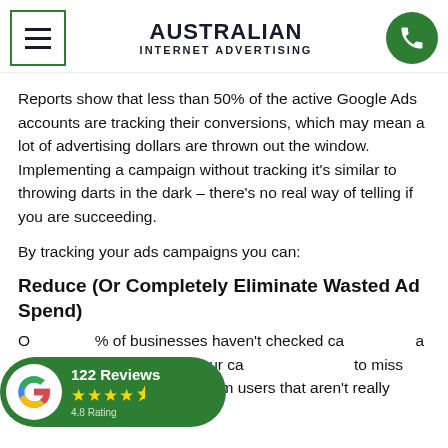AUSTRALIAN INTERNET ADVERTISING
Reports show that less than 50% of the active Google Ads accounts are tracking their conversions, which may mean a lot of advertising dollars are thrown out the window. Implementing a campaign without tracking it's similar to throwing darts in the dark – there's no real way of telling if you are succeeding.
By tracking your ads campaigns you can:
Reduce (Or Completely Eliminate Wasted Ad Spend)
O…% of businesses haven't checked ca… a month. Failing to monitor your campaign… to miss low-value clicks that come from users that aren't really interested in your
[Figure (logo): Google Reviews badge showing 122 Reviews, 4 gold stars and a half star, 4.8 Rating on a green background]